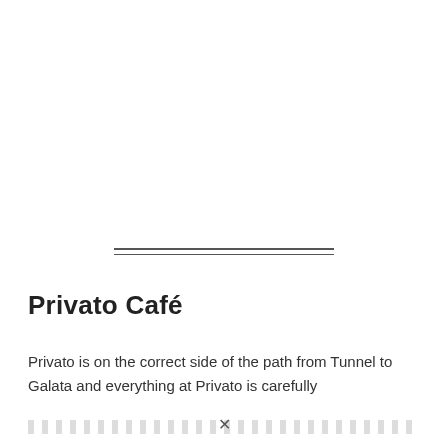Privato Café
Privato is on the correct side of the path from Tunnel to Galata and everything at Privato is carefully